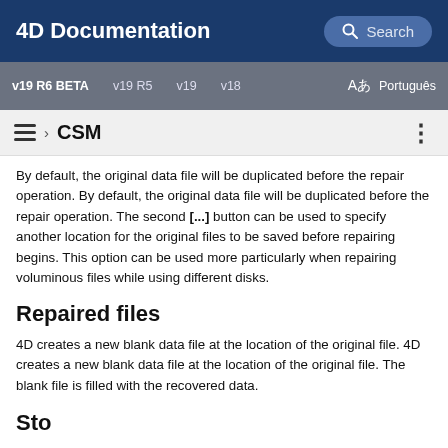4D Documentation
v19 R6 BETA   v19 R5   v19   v18   Aあ Português
≡ › CSM
By default, the original data file will be duplicated before the repair operation. By default, the original data file will be duplicated before the repair operation. The second [...] button can be used to specify another location for the original files to be saved before repairing begins. This option can be used more particularly when repairing voluminous files while using different disks.
Repaired files
4D creates a new blank data file at the location of the original file. 4D creates a new blank data file at the location of the original file. The blank file is filled with the recovered data.
Sto...